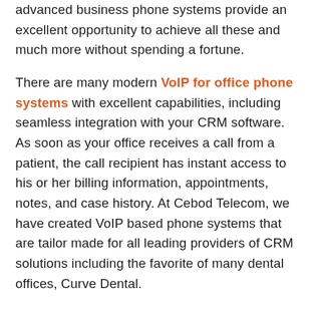advanced business phone systems provide an excellent opportunity to achieve all these and much more without spending a fortune.
There are many modern VoIP for office phone systems with excellent capabilities, including seamless integration with your CRM software. As soon as your office receives a call from a patient, the call recipient has instant access to his or her billing information, appointments, notes, and case history. At Cebod Telecom, we have created VoIP based phone systems that are tailor made for all leading providers of CRM solutions including the favorite of many dental offices, Curve Dental.